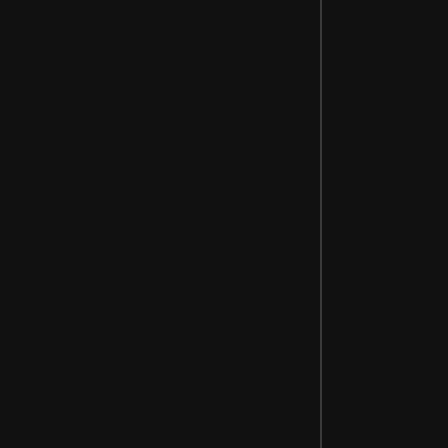enhanced iron a...
Girdle of the Calm...
rough leather be...
Cloud Caller (0 d...
rough leather cap...
steel mail armou...
7 agate
Mummified Egg-...
11 spinel
scorching brass h...
Scrying Orb
Rod of Recall (1/...
Transmogrificatio...
7 ametrine
7 citrine
11 zircon
Achievements
[Figure (screenshot): Game UI panel with achievements section and a grey item icon placeholder box with dark border]